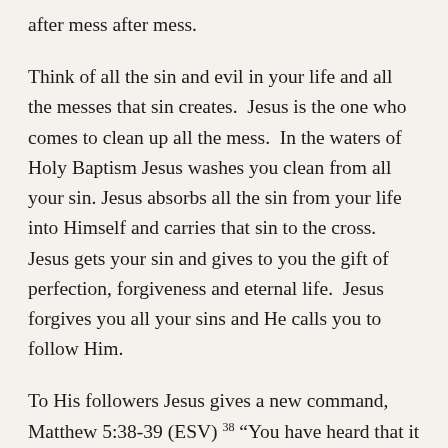after mess after mess.
Think of all the sin and evil in your life and all the messes that sin creates.  Jesus is the one who comes to clean up all the mess.  In the waters of Holy Baptism Jesus washes you clean from all your sin.  Jesus absorbs all the sin from your life into Himself and carries that sin to the cross.  Jesus gets your sin and gives to you the gift of perfection, forgiveness and eternal life.  Jesus forgives you all your sins and He calls you to follow Him.
To His followers Jesus gives a new command, Matthew 5:38-39 (ESV) 38 “You have heard that it